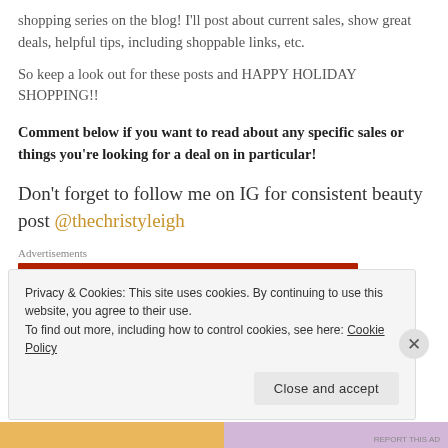shopping series on the blog! I'll post about current sales, show great deals, helpful tips, including shoppable links, etc.
So keep a look out for these posts and HAPPY HOLIDAY SHOPPING!!
Comment below if you want to read about any specific sales or things you're looking for a deal on in particular!
Don't forget to follow me on IG for consistent beauty post @thechristyleigh
Advertisements
[Figure (other): Red advertisement banner bar]
Privacy & Cookies: This site uses cookies. By continuing to use this website, you agree to their use. To find out more, including how to control cookies, see here: Cookie Policy
Close and accept